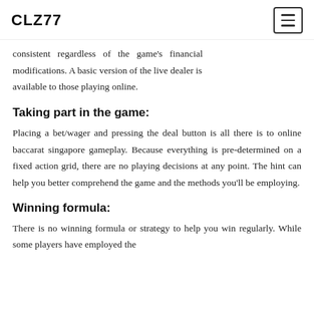CLZ77
consistent regardless of the game's financial modifications. A basic version of the live dealer is available to those playing online.
Taking part in the game:
Placing a bet/wager and pressing the deal button is all there is to online baccarat singapore gameplay. Because everything is pre-determined on a fixed action grid, there are no playing decisions at any point. The hint can help you better comprehend the game and the methods you'll be employing.
Winning formula:
There is no winning formula or strategy to help you win regularly. While some players have employed the